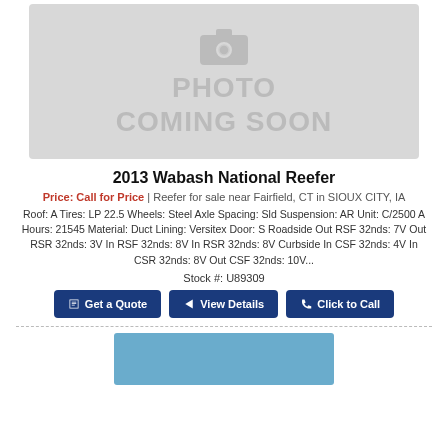[Figure (photo): Gray placeholder with camera icon and text PHOTO COMING SOON]
2013 Wabash National Reefer
Price: Call for Price | Reefer for sale near Fairfield, CT in SIOUX CITY, IA
Roof: A Tires: LP 22.5 Wheels: Steel Axle Spacing: Sld Suspension: AR Unit: C/2500 A Hours: 21545 Material: Duct Lining: Versitex Door: S Roadside Out RSF 32nds: 7V Out RSR 32nds: 3V In RSF 32nds: 8V In RSR 32nds: 8V Curbside In CSF 32nds: 4V In CSR 32nds: 8V Out CSF 32nds: 10V...
Stock #: U89309
Get a Quote | View Details | Click to Call
[Figure (photo): Partial blue sky/outdoor photo at bottom of page]